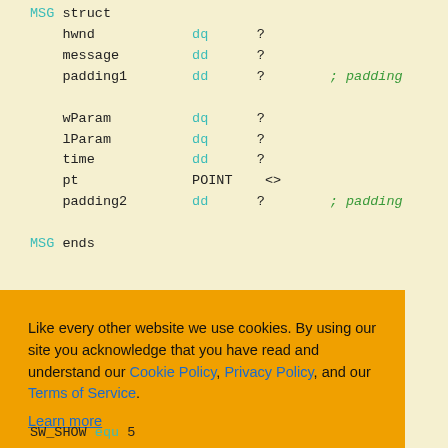MSG struct
    hwnd          dq   ?
    message       dd   ?
    padding1      dd   ?    ; padding

    wParam        dq   ?
    lParam        dq   ?
    time          dd   ?
    pt            POINT  <>
    padding2      dd   ?    ; padding

MSG ends
Like every other website we use cookies. By using our site you acknowledge that you have read and understand our Cookie Policy, Privacy Policy, and our Terms of Service.
Learn more
Ask me later | Decline | Allow cookies
SW_SHOW equ 5